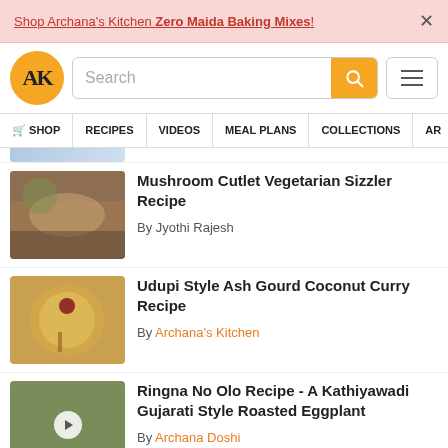Shop Archana's Kitchen Zero Maida Baking Mixes!
[Figure (logo): AK logo - orange circle with AK letters]
Search
SHOP
RECIPES
VIDEOS
MEAL PLANS
COLLECTIONS
AR
Mushroom Cutlet Vegetarian Sizzler Recipe
By Jyothi Rajesh
Udupi Style Ash Gourd Coconut Curry Recipe
By Archana's Kitchen
Ringna No Olo Recipe - A Kathiyawadi Gujarati Style Roasted Eggplant
By Archana Doshi
Sindhi Sai Bhaji Recipe - Wholesome